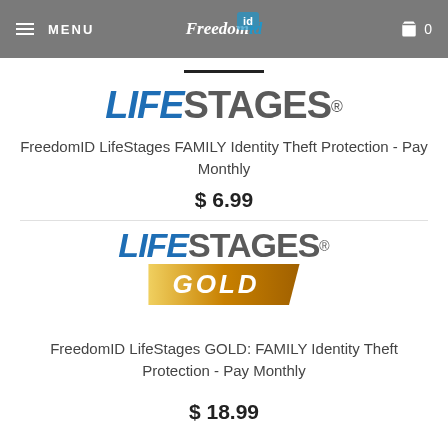MENU | FreedomID | 0
[Figure (logo): LIFESTAGES logo in blue and grey italic lettering with registered trademark symbol]
FreedomID LifeStages FAMILY Identity Theft Protection - Pay Monthly
$ 6.99
[Figure (logo): LIFESTAGES GOLD logo with blue/grey lettering and gold banner reading GOLD in italic]
FreedomID LifeStages GOLD: FAMILY Identity Theft Protection - Pay Monthly
$ 18.99